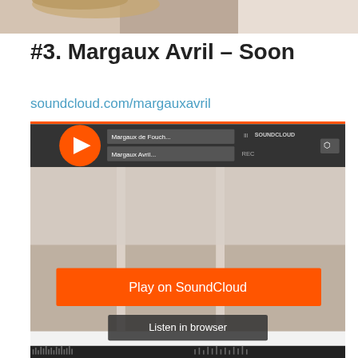[Figure (photo): Partial photo of a woman with blonde hair visible at the top of the page]
#3. Margaux Avril – Soon
soundcloud.com/margauxavril
[Figure (screenshot): SoundCloud embedded player screenshot showing Margaux Avril track with play button, track info 'Margaux de Fouch...' and 'Margaux Avril...', SOUNDCLOUD logo, share button, and a 'Play on SoundCloud' orange button, 'Listen in browser' button, background photo of woman sitting on window ledge, and waveform at bottom]